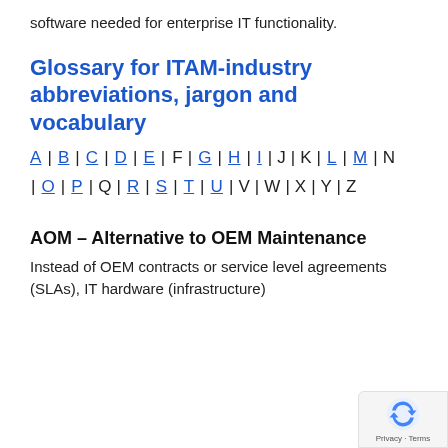software needed for enterprise IT functionality.
Glossary for ITAM-industry abbreviations, jargon and vocabulary
A | B | C | D | E | F | G | H | I | J | K | L | M | N | O | P | Q | R | S | T | U | V | W | X | Y | Z
AOM – Alternative to OEM Maintenance
Instead of OEM contracts or service level agreements (SLAs), IT hardware (infrastructure)